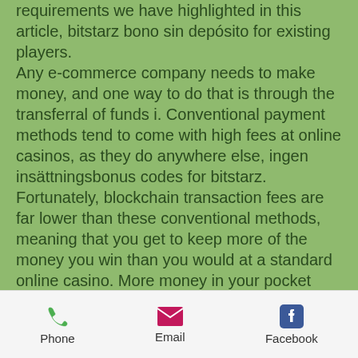requirements we have highlighted in this article, bitstarz bono sin depósito for existing players.
Any e-commerce company needs to make money, and one way to do that is through the transferral of funds i. Conventional payment methods tend to come with high fees at online casinos, as they do anywhere else, ingen insättningsbonus codes for bitstarz. Fortunately, blockchain transaction fees are far lower than these conventional methods, meaning that you get to keep more of the money you win than you would at a standard online casino. More money in your pocket means that you can play for longer.
Oh, bother! no topics were found here. About teach me too. Teach me too is the nation's leading nonprofit organization dedicated to improving the lives of. Bitstarz free bonus
Phone  Email  Facebook